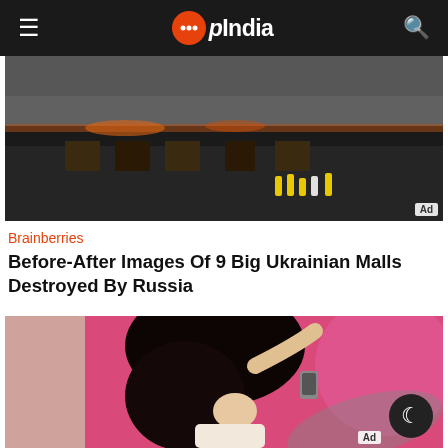opIndia
[Figure (photo): Fire-damaged building with smoke and emergency responders visible, advertisement image]
Brainberries
Before-After Images Of 9 Big Ukrainian Malls Destroyed By Russia
[Figure (photo): Woman with dark hair pulling it back, standing in front of pink background, advertisement image]